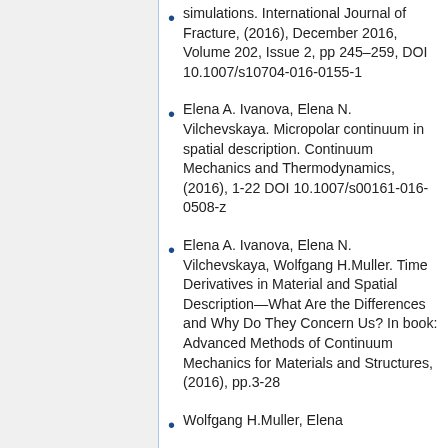simulations. International Journal of Fracture, (2016), December 2016, Volume 202, Issue 2, pp 245–259, DOI 10.1007/s10704-016-0155-1
Elena A. Ivanova, Elena N. Vilchevskaya. Micropolar continuum in spatial description. Continuum Mechanics and Thermodynamics, (2016), 1-22 DOI 10.1007/s00161-016-0508-z
Elena A. Ivanova, Elena N. Vilchevskaya, Wolfgang H.Muller. Time Derivatives in Material and Spatial Description—What Are the Differences and Why Do They Concern Us? In book: Advanced Methods of Continuum Mechanics for Materials and Structures, (2016), pp.3-28
Wolfgang H.Muller, Elena...